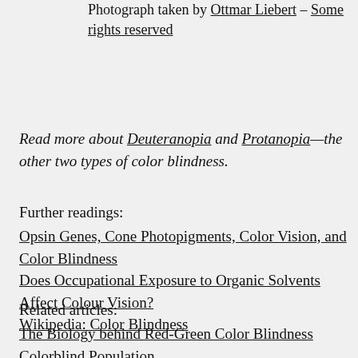Photograph taken by Ottmar Liebert – Some rights reserved
Read more about Deuteranopia and Protanopia—the other two types of color blindness.
Further readings:
Opsin Genes, Cone Photopigments, Color Vision, and Color Blindness
Does Occupational Exposure to Organic Solvents Affect Colour Vision?
Wikipedia: Color Blindness
Related articles:
The Biology behind Red-Green Color Blindness
Colorblind Population